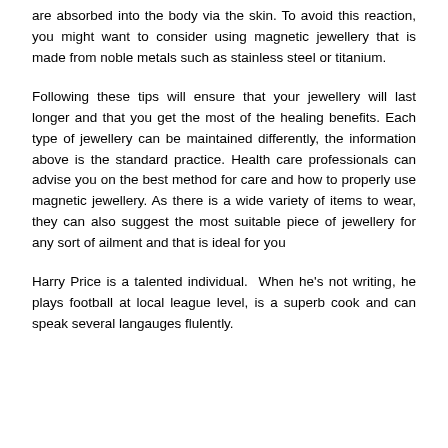are absorbed into the body via the skin. To avoid this reaction, you might want to consider using magnetic jewellery that is made from noble metals such as stainless steel or titanium.
Following these tips will ensure that your jewellery will last longer and that you get the most of the healing benefits. Each type of jewellery can be maintained differently, the information above is the standard practice. Health care professionals can advise you on the best method for care and how to properly use magnetic jewellery. As there is a wide variety of items to wear, they can also suggest the most suitable piece of jewellery for any sort of ailment and that is ideal for you
Harry Price is a talented individual.  When he's not writing, he plays football at local league level, is a superb cook and can speak several langauges flulently.